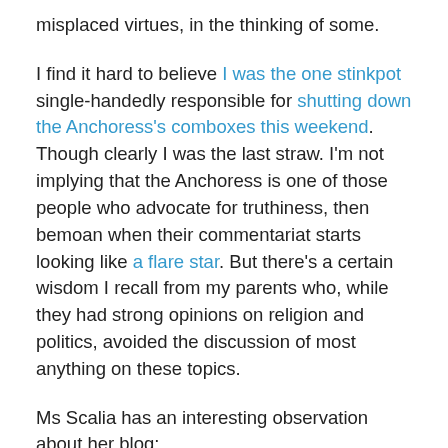misplaced virtues, in the thinking of some.
I find it hard to believe I was the one stinkpot single-handedly responsible for shutting down the Anchoress's comboxes this weekend. Though clearly I was the last straw. I'm not implying that the Anchoress is one of those people who advocate for truthiness, then bemoan when their commentariat starts looking like a flare star. But there's a certain wisdom I recall from my parents who, while they had strong opinions on religion and politics, avoided the discussion of most anything on these topics.
Ms Scalia has an interesting observation about her blog:
I noticed things changed right about the time of the John Corapi debacle, and since then it has continued more unpleasant than pleasant around here, rather like the whole society...